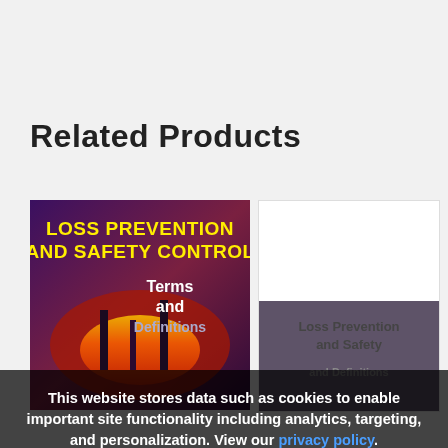Related Products
[Figure (photo): Book cover for 'Loss Prevention and Safety Control: Terms and Definitions' with purple/red background showing industrial fire imagery and yellow bold title text]
[Figure (photo): Second book cover placeholder, white/blank, partially showing 'Loss Prevention and Safety... and Definitions' text]
Loss Prevention and Safety... and Definitions
This website stores data such as cookies to enable important site functionality including analytics, targeting, and personalization. View our privacy policy.
Accept
Deny